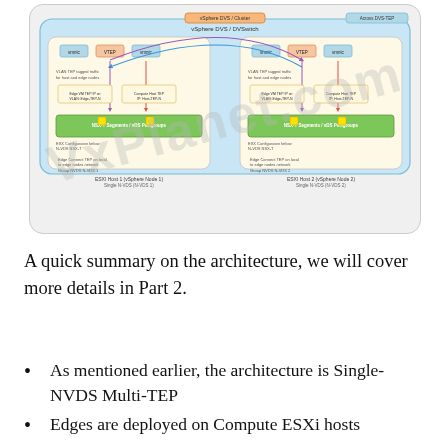[Figure (network-graph): Network architecture diagram showing two ESXi host nodes with NVDS Multi-TEP configuration, connected via vSphere DVS/Edges. Components include TEP interfaces, uplinks, and overlay/underlay networking elements. VxPlanet.com watermark visible.]
A quick summary on the architecture, we will cover more details in Part 2.
As mentioned earlier, the architecture is Single-NVDS Multi-TEP
Edges are deployed on Compute ESXi hosts